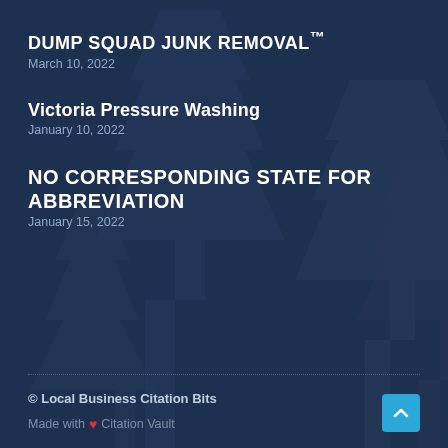DUMP SQUAD JUNK REMOVAL™
March 10, 2022
Victoria Pressure Washing
January 10, 2022
NO CORRESPONDING STATE FOR ABBREVIATION
January 15, 2022
© Local Business Citation Bits
Made with ❤ Citation Vault